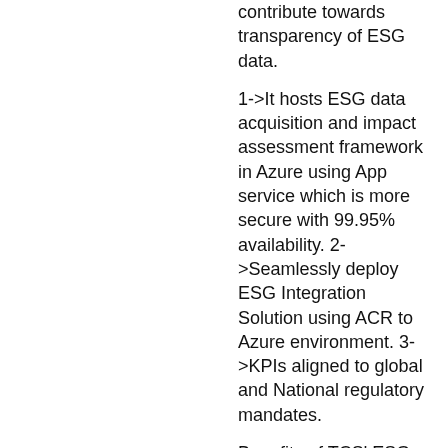contribute towards transparency of ESG data.
1->It hosts ESG data acquisition and impact assessment framework in Azure using App service which is more secure with 99.95% availability. 2->Seamlessly deploy ESG Integration Solution using ACR to Azure environment. 3->KPIs aligned to global and National regulatory mandates.
Benefits of TCS' ESG solution:
1->360-degree view - Ability to consume data, measure and report the real-world impact of assets and investments on UN